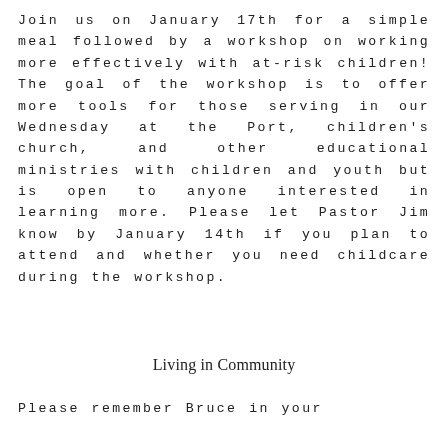Join us on January 17th for a simple meal followed by a workshop on working more effectively with at-risk children! The goal of the workshop is to offer more tools for those serving in our Wednesday at the Port, children's church, and other educational ministries with children and youth but is open to anyone interested in learning more. Please let Pastor Jim know by January 14th if you plan to attend and whether you need childcare during the workshop.
Living in Community
Please remember Bruce in your